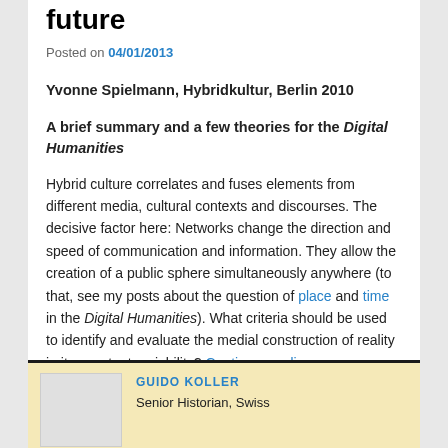future
Posted on 04/01/2013
Yvonne Spielmann, Hybridkultur, Berlin 2010
A brief summary and a few theories for the Digital Humanities
Hybrid culture correlates and fuses elements from different media, cultural contexts and discourses. The decisive factor here: Networks change the direction and speed of communication and information. They allow the creation of a public sphere simultaneously anywhere (to that, see my posts about the question of place and time in the Digital Humanities). What criteria should be used to identify and evaluate the medial construction of reality in its constant variability? Continue reading →
GUIDO KOLLER
Senior Historian, Swiss